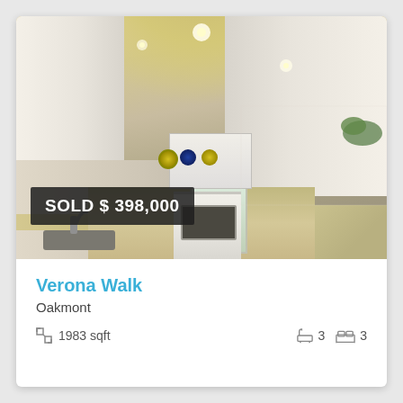[Figure (photo): Interior kitchen photo of a home with white cabinets, granite countertops, white appliances including stove and microwave, sink on the left, and a door leading to an outdoor area in the center background. Ceiling has a rounded tray design with warm yellow paint.]
SOLD $ 398,000
Verona Walk
Oakmont
1983 sqft
3
3